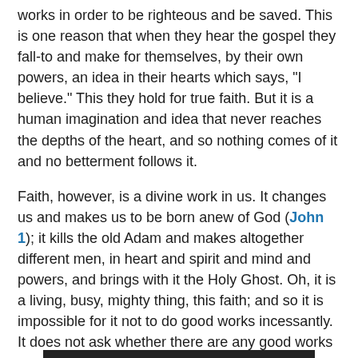works in order to be righteous and be saved. This is one reason that when they hear the gospel they fall-to and make for themselves, by their own powers, an idea in their hearts which says, "I believe." This they hold for true faith. But it is a human imagination and idea that never reaches the depths of the heart, and so nothing comes of it and no betterment follows it.
Faith, however, is a divine work in us. It changes us and makes us to be born anew of God (John 1); it kills the old Adam and makes altogether different men, in heart and spirit and mind and powers, and brings with it the Holy Ghost. Oh, it is a living, busy, mighty thing, this faith; and so it is impossible for it not to do good works incessantly. It does not ask whether there are any good works to do, but before the question rises; it has already done them, and is always at the doing of them. He who does not these works is a faithless man. He gropes and looks about after faith and good works, and knows neither what faith is nor what good works are, though he talks and talks, with many words, about faith and good works.